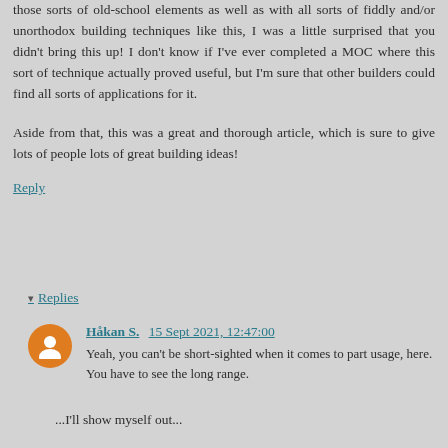those sorts of old-school elements as well as with all sorts of fiddly and/or unorthodox building techniques like this, I was a little surprised that you didn't bring this up! I don't know if I've ever completed a MOC where this sort of technique actually proved useful, but I'm sure that other builders could find all sorts of applications for it.
Aside from that, this was a great and thorough article, which is sure to give lots of people lots of great building ideas!
Reply
Replies
Håkan S. 15 Sept 2021, 12:47:00
Yeah, you can't be short-sighted when it comes to part usage, here. You have to see the long range.
...I'll show myself out...